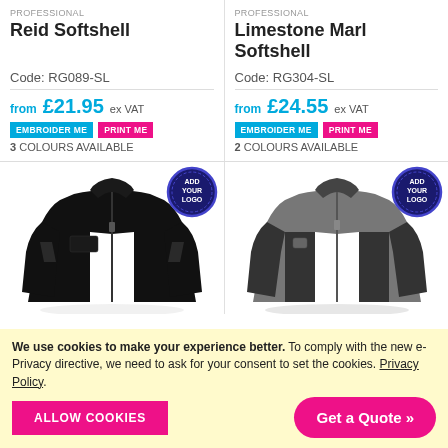PROFESSIONAL
Reid Softshell
Code: RG089-SL
from £21.95 ex VAT
EMBROIDER ME  PRINT ME
3 COLOURS AVAILABLE
[Figure (photo): Black softshell jacket (Reid Softshell) with Add Your Logo badge]
PROFESSIONAL
Limestone Marl Softshell
Code: RG304-SL
from £24.55 ex VAT
EMBROIDER ME  PRINT ME
2 COLOURS AVAILABLE
[Figure (photo): Grey softshell jacket (Limestone Marl Softshell) with Add Your Logo badge]
We use cookies to make your experience better. To comply with the new e-Privacy directive, we need to ask for your consent to set the cookies. Privacy Policy.
ALLOW COOKIES
Get a Quote »